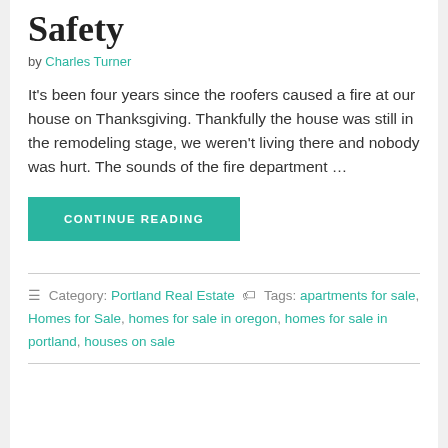Safety
by Charles Turner
It's been four years since the roofers caused a fire at our house on Thanksgiving. Thankfully the house was still in the remodeling stage, we weren't living there and nobody was hurt. The sounds of the fire department …
CONTINUE READING
Category: Portland Real Estate  Tags: apartments for sale, Homes for Sale, homes for sale in oregon, homes for sale in portland, houses on sale